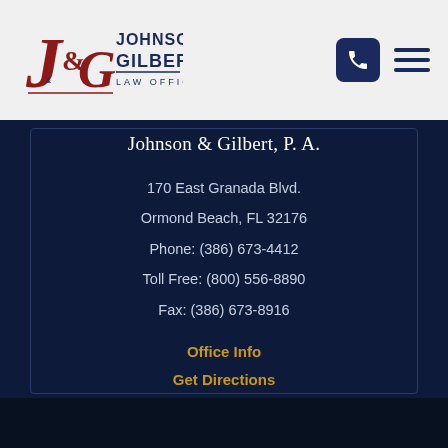[Figure (logo): Johnson & Gilbert, P.A. Law Offices logo with J&G monogram in dark red and navy text]
Johnson & Gilbert, P.A.
170 East Granada Blvd.
Ormond Beach, FL 32176
Phone: (386) 673-4412
Toll Free: (800) 556-8890
Fax: (386) 673-8916
Office Info
Get Directions